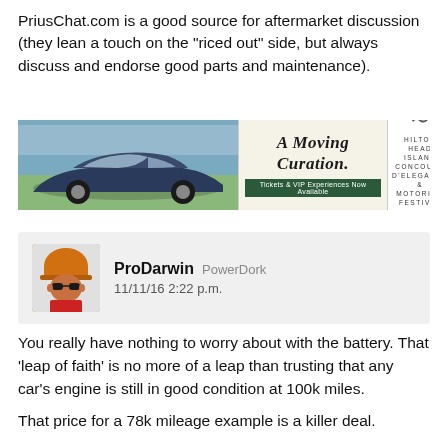PriusChat.com is a good source for aftermarket discussion (they lean a touch on the "riced out" side, but always discuss and endorse good parts and maintenance).
[Figure (other): Advertisement banner for Hilton Head Island Concours d'Elegance & Motoring Festival. Shows a sports car on the left, cursive text 'A Moving Curation' in the center with 'Tickets & VIP Experiences Now Available', and event details on the right: NOV 4-6.]
ProDarwin PowerDork 11/11/16 2:22 p.m.
You really have nothing to worry about with the battery. That 'leap of faith' is no more of a leap than trusting that any car's engine is still in good condition at 100k miles.
That price for a 78k mileage example is a killer deal.